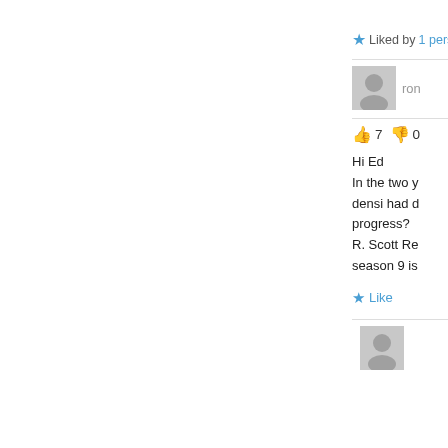★ Liked by 1 person
[Figure (photo): User avatar placeholder (gray silhouette)]
ron
👍 7 👎 0
Hi Ed
In the two y
densi had d
progress?
R. Scott Re
season 9 is
★ Like
[Figure (photo): Second user avatar placeholder (gray silhouette)]